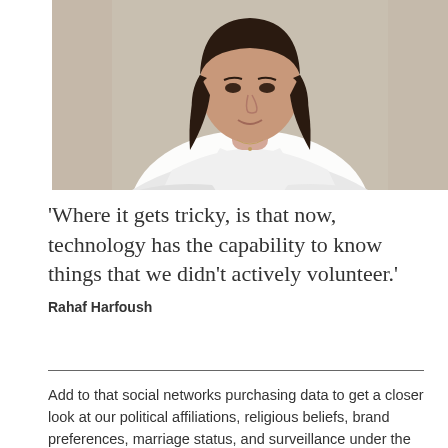[Figure (photo): Portrait photograph of a woman with dark hair wearing a white button-up shirt, seated with arms crossed, in an interior setting.]
'Where it gets tricky, is that now, technology has the capability to know things that we didn't actively volunteer.'
Rahaf Harfoush
Add to that social networks purchasing data to get a closer look at our political affiliations, religious beliefs, brand preferences, marriage status, and surveillance under the guise of security; there's a sense that our freedom is slowly being eroded while we sit back unwittingly and watch. 'The protection of privacy